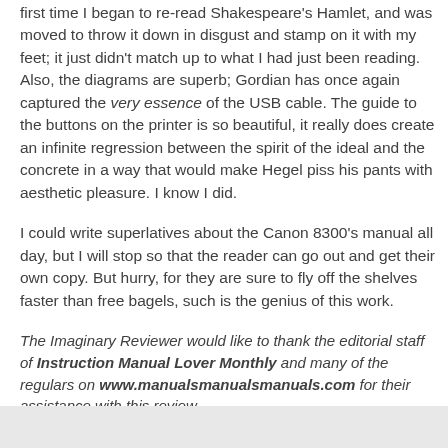first time I began to re-read Shakespeare's Hamlet, and was moved to throw it down in disgust and stamp on it with my feet; it just didn't match up to what I had just been reading. Also, the diagrams are superb; Gordian has once again captured the very essence of the USB cable. The guide to the buttons on the printer is so beautiful, it really does create an infinite regression between the spirit of the ideal and the concrete in a way that would make Hegel piss his pants with aesthetic pleasure. I know I did.
I could write superlatives about the Canon 8300's manual all day, but I will stop so that the reader can go out and get their own copy. But hurry, for they are sure to fly off the shelves faster than free bagels, such is the genius of this work.
The Imaginary Reviewer would like to thank the editorial staff of Instruction Manual Lover Monthly and many of the regulars on www.manualsmanualsmanuals.com for their assistance with this review.